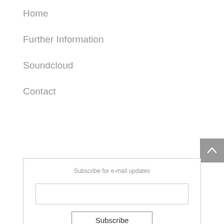Home
Further Information
Soundcloud
Contact
Subscribe for e-mail updates
Subscribe